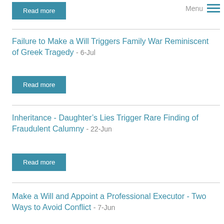[Figure (other): Read more button at top]
Menu
Failure to Make a Will Triggers Family War Reminiscent of Greek Tragedy - 6-Jul
Read more
Inheritance - Daughter’s Lies Trigger Rare Finding of Fraudulent Calumny - 22-Jun
Read more
Make a Will and Appoint a Professional Executor - Two Ways to Avoid Conflict - 7-Jun